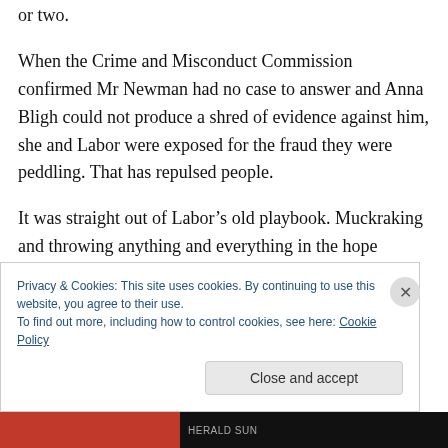or two.
When the Crime and Misconduct Commission confirmed Mr Newman had no case to answer and Anna Bligh could not produce a shred of evidence against him, she and Labor were exposed for the fraud they were peddling. That has repulsed people.
It was straight out of Labor's old playbook. Muckraking and throwing anything and everything in the hope something would stick. It's gutter politics and it doesn't work. Dragging Mr Newman's wife and family through
Privacy & Cookies: This site uses cookies. By continuing to use this website, you agree to their use.
To find out more, including how to control cookies, see here: Cookie Policy